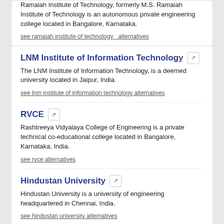Ramaiah Institute of Technology, formerly M.S. Ramaiah Institute of Technology is an autonomous private engineering college located in Bangalore, Karnataka.
see ramaiah institute of technology alternatives
LNM Institute of Information Technology
The LNM Institute of Information Technology, is a deemed university located in Jaipur, India.
see lnm institute of information technology alternatives
RVCE
Rashtreeya Vidyalaya College of Engineering is a private technical co-educational college located in Bangalore, Karnataka, India.
see rvce alternatives
Hindustan University
Hindustan University is a university of engineering headquartered in Chennai, India.
see hindustan university alternatives
SIMILAR WEBSITES
Lovely Professional University